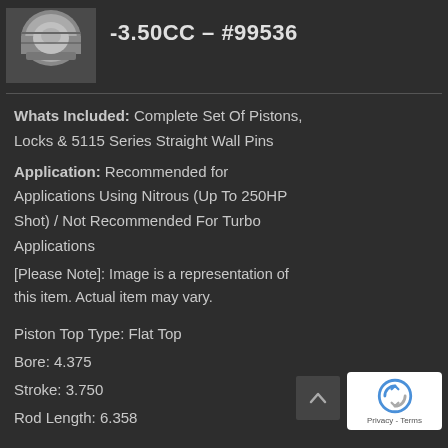[Figure (photo): Product photo of a piston, shown in a small thumbnail image in top-left area]
-3.50CC – #99536
Whats Included: Complete Set Of Pistons, Locks & 5115 Series Straight Wall Pins
Application: Recommended for Applications Using Nitrous (Up To 250HP Shot) / Not Recommended For Turbo Applications
[Please Note]: Image is a representation of this item. Actual item may vary.
Piston Top Type: Flat Top
Bore: 4.375
Stroke: 3.750
Rod Length: 6.358